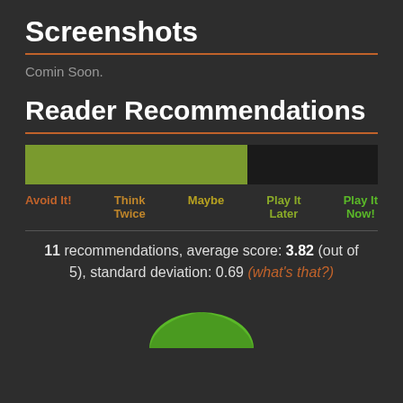Screenshots
Comin Soon.
Reader Recommendations
[Figure (bar-chart): Horizontal recommendation bar showing green segment (~63%) and dark segment (~37%), with labels: Avoid It!, Think Twice, Maybe, Play It Later, Play It Now!]
11 recommendations, average score: 3.82 (out of 5), standard deviation: 0.69 (what's that?)
[Figure (pie-chart): Partial pie chart visible at bottom of page, green colors]